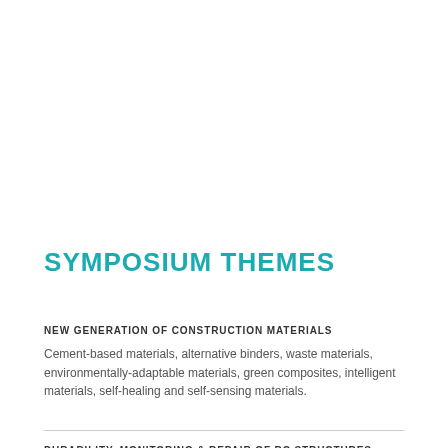SYMPOSIUM THEMES
NEW GENERATION OF CONSTRUCTION MATERIALS
Cement-based materials, alternative binders, waste materials, environmentally-adaptable materials, green composites, intelligent materials, self-healing and self-sensing materials.
DURABILITY, MONITORING & REPAIR OF RC STRUCTURES